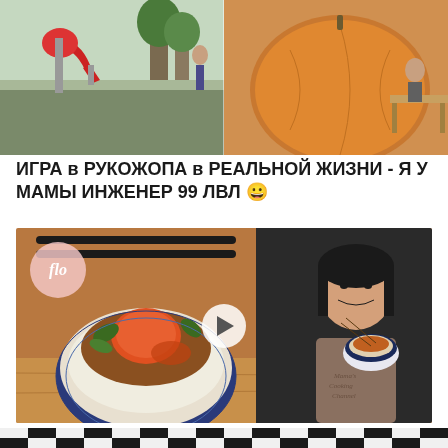[Figure (photo): Top banner with two photos: left shows a red playground slide on grass with trees; right shows a large orange gourd/pumpkin-shaped structure with a person and cafe furniture.]
ИГРА в РУКОЖОПА в РЕАЛЬНОЙ ЖИЗНИ - Я У МАМЫ ИНЖЕНЕР 99 ЛВЛ 😀
[Figure (photo): Video thumbnail from 'flo' channel showing a bowl of stir-fried beef with tomato over rice, with a smiling Asian woman in an apron eating from a bowl. Play button in center.]
Grandma's BEST Stir Fry - Beef with Tomato
[Figure (photo): Partial bottom strip showing a black and white checkered or grid pattern, partially visible.]